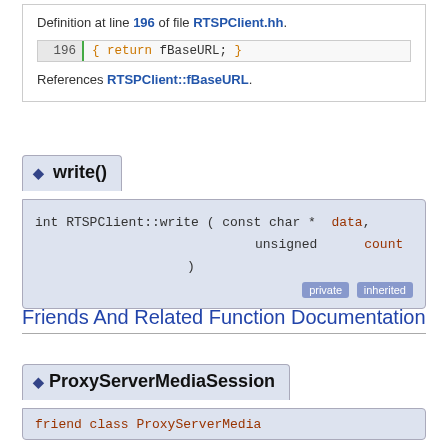Definition at line 196 of file RTSPClient.hh.
{ return fBaseURL; }
References RTSPClient::fBaseURL.
write()
int RTSPClient::write ( const char * data, unsigned count )
Friends And Related Function Documentation
ProxyServerMediaSession